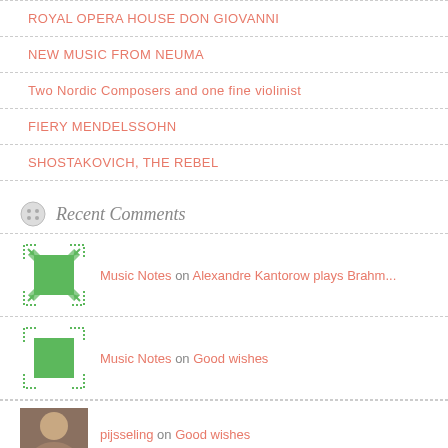ROYAL OPERA HOUSE DON GIOVANNI
NEW MUSIC FROM NEUMA
Two Nordic Composers and one fine violinist
FIERY MENDELSSOHN
SHOSTAKOVICH, THE REBEL
Recent Comments
Music Notes on Alexandre Kantorow plays Brahm...
Music Notes on Good wishes
pijsseling on Good wishes